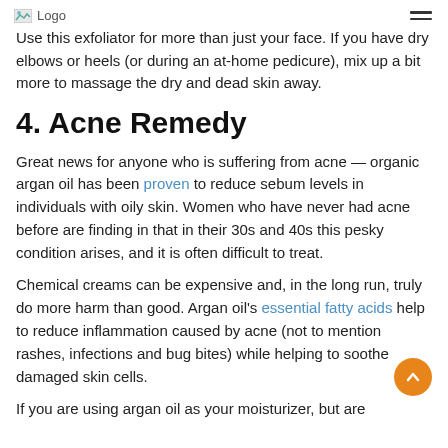Logo
Use this exfoliator for more than just your face. If you have dry elbows or heels (or during an at-home pedicure), mix up a bit more to massage the dry and dead skin away.
4. Acne Remedy
Great news for anyone who is suffering from acne — organic argan oil has been proven to reduce sebum levels in individuals with oily skin. Women who have never had acne before are finding in that in their 30s and 40s this pesky condition arises, and it is often difficult to treat.
Chemical creams can be expensive and, in the long run, truly do more harm than good. Argan oil's essential fatty acids help to reduce inflammation caused by acne (not to mention rashes, infections and bug bites) while helping to soothe damaged skin cells.
If you are using argan oil as your moisturizer, but are